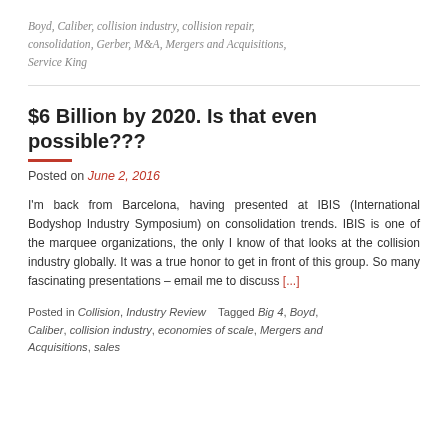Boyd, Caliber, collision industry, collision repair, consolidation, Gerber, M&A, Mergers and Acquisitions, Service King
$6 Billion by 2020. Is that even possible???
Posted on June 2, 2016
I'm back from Barcelona, having presented at IBIS (International Bodyshop Industry Symposium) on consolidation trends. IBIS is one of the marquee organizations, the only I know of that looks at the collision industry globally. It was a true honor to get in front of this group. So many fascinating presentations – email me to discuss [...]
Posted in Collision, Industry Review   Tagged Big 4, Boyd, Caliber, collision industry, economies of scale, Mergers and Acquisitions, sales